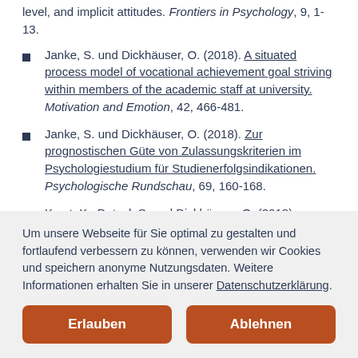level, and implicit attitudes. Frontiers in Psychology, 9, 1-13.
Janke, S. und Dickhäuser, O. (2018). A situated process model of vocational achievement goal striving within members of the academic staff at university. Motivation and Emotion, 42, 466-481.
Janke, S. und Dickhäuser, O. (2018). Zur prognostischen Güte von Zulassungskriterien im Psychologiestudium für Studienerfolgsindikationen. Psychologische Rundschau, 69, 160-168.
Karst, K., Dotzel, S. und Dickhäuser, O. (2018). Comparing
Um unsere Webseite für Sie optimal zu gestalten und fortlaufend verbessern zu können, verwenden wir Cookies und speichern anonyme Nutzungsdaten. Weitere Informationen erhalten Sie in unserer Datenschutzerklärung.